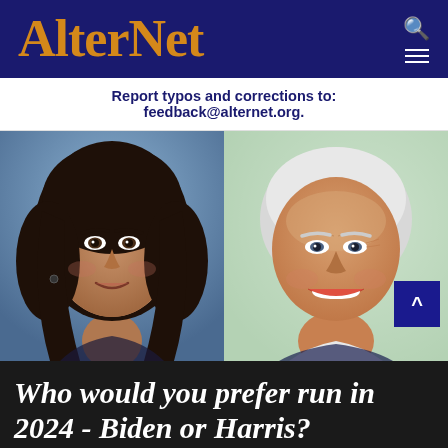AlterNet
Report typos and corrections to: feedback@alternet.org.
[Figure (photo): Side-by-side photos of Kamala Harris (left) and Joe Biden (right) smiling]
Who would you prefer run in 2024 - Biden or Harris?